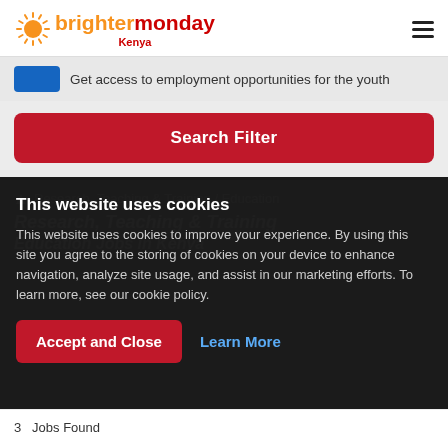[Figure (logo): BrighterMonday Kenya logo with sun icon]
Get access to employment opportunities for the youth
Search Filter
This website uses cookies
This website uses cookies to improve your experience. By using this site you agree to the storing of cookies on your device to enhance navigation, analyze site usage, and assist in our marketing efforts. To learn more, see our cookie policy.
Accept and Close
Learn More
Research, Teaching & Training / Education
Research, Teaching & Training
Education Jobs in Kenya
3 Jobs Found